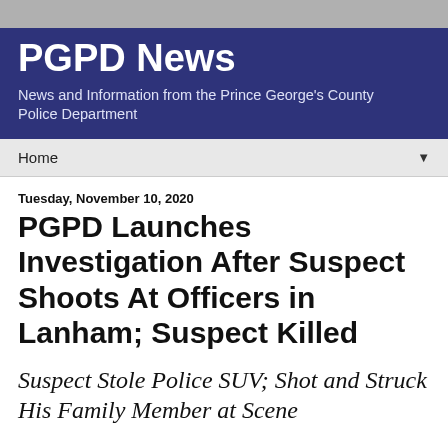PGPD News
News and Information from the Prince George's County Police Department
Home
Tuesday, November 10, 2020
PGPD Launches Investigation After Suspect Shoots At Officers in Lanham; Suspect Killed
Suspect Stole Police SUV; Shot and Struck His Family Member at Scene